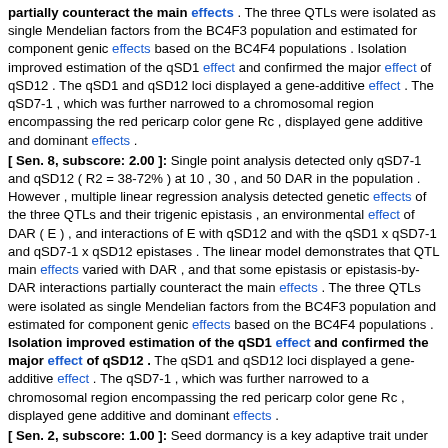partially counteract the main effects . The three QTLs were isolated as single Mendelian factors from the BC4F3 population and estimated for component genic effects based on the BC4F4 populations . Isolation improved estimation of the qSD1 effect and confirmed the major effect of qSD12 . The qSD1 and qSD12 loci displayed a gene-additive effect . The qSD7-1 , which was further narrowed to a chromosomal region encompassing the red pericarp color gene Rc , displayed gene additive and dominant effects .
[ Sen. 8, subscore: 2.00 ]: Single point analysis detected only qSD7-1 and qSD12 ( R2 = 38-72% ) at 10 , 30 , and 50 DAR in the population . However , multiple linear regression analysis detected genetic effects of the three QTLs and their trigenic epistasis , an environmental effect of DAR ( E ) , and interactions of E with qSD12 and with the qSD1 x qSD7-1 and qSD7-1 x qSD12 epistases . The linear model demonstrates that QTL main effects varied with DAR , and that some epistasis or epistasis-by-DAR interactions partially counteract the main effects . The three QTLs were isolated as single Mendelian factors from the BC4F3 population and estimated for component genic effects based on the BC4F4 populations . Isolation improved estimation of the qSD1 effect and confirmed the major effect of qSD12 . The qSD1 and qSD12 loci displayed a gene-additive effect . The qSD7-1 , which was further narrowed to a chromosomal region encompassing the red pericarp color gene Rc , displayed gene additive and dominant effects .
[ Sen. 2, subscore: 1.00 ]: Seed dormancy is a key adaptive trait under polygenic control in many plants . We introduced the chromosomal regions containing the dormancy QTLs qSD1 , qSD7-1 , and qSD12 from an accession of weedy rice into a nondormant genetic background to examine component genetic effects and their interactions with time of afterripening ( DAR ) . A BC4F2 plant , which was heterozygous for the three loci , was selected to develop the BC4F3